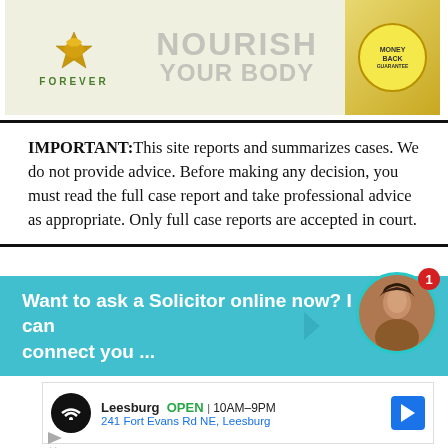[Figure (photo): Forever Living Products advertisement banner showing eagle logo, 'NOURISH YOUR BODY' text, and product images with money-back guarantee badge]
IMPORTANT: This site reports and summarizes cases. We do not provide advice. Before making any decision, you must read the full case report and take professional advice as appropriate. Only full case reports are accepted in court.
[Figure (infographic): Chat widget with teal background asking 'Want to ask a Solicitor online now? I can connect you ...' with woman's avatar photo and notification badge showing 1]
[Figure (screenshot): Google Maps advertisement showing Leesburg store location, OPEN 10AM-9PM, address 241 Fort Evans Rd NE, Leesburg]